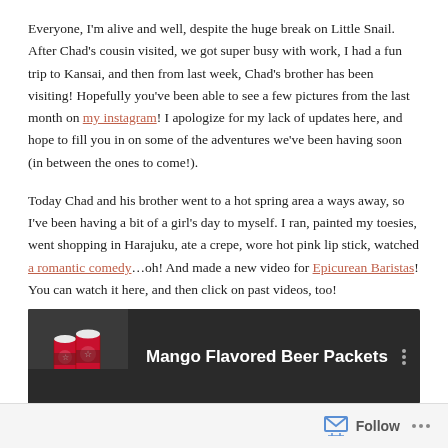Everyone, I'm alive and well, despite the huge break on Little Snail. After Chad's cousin visited, we got super busy with work, I had a fun trip to Kansai, and then from last week, Chad's brother has been visiting! Hopefully you've been able to see a few pictures from the last month on my instagram! I apologize for my lack of updates here, and hope to fill you in on some of the adventures we've been having soon (in between the ones to come!).
Today Chad and his brother went to a hot spring area a ways away, so I've been having a bit of a girl's day to myself. I ran, painted my toesies, went shopping in Harajuku, ate a crepe, wore hot pink lip stick, watched a romantic comedy...oh! And made a new video for Epicurean Baristas! You can watch it here, and then click on past videos, too!
[Figure (screenshot): YouTube video embed showing 'Mango Flavored Beer Packets' with Starbucks cups thumbnail on dark background]
Follow